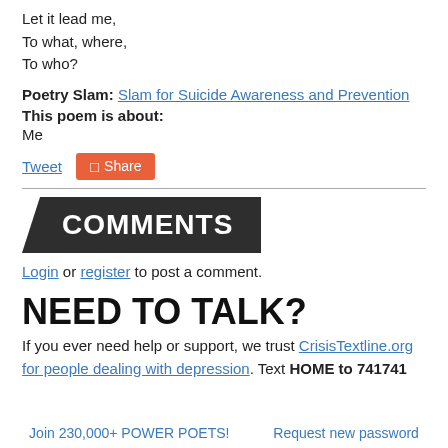Let it lead me,
To what, where,
To who?
Poetry Slam: Slam for Suicide Awareness and Prevention
This poem is about:
Me
Tweet  Share
COMMENTS
Login or register to post a comment.
NEED TO TALK?
If you ever need help or support, we trust CrisisTextline.org for people dealing with depression. Text HOME to 741741
Join 230,000+ POWER POETS!   Request new password